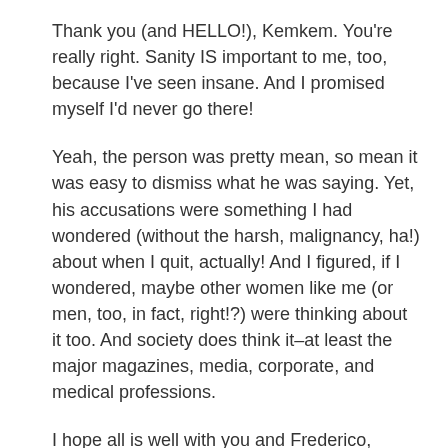Thank you (and HELLO!), Kemkem. You're really right. Sanity IS important to me, too, because I've seen insane. And I promised myself I'd never go there!
Yeah, the person was pretty mean, so mean it was easy to dismiss what he was saying. Yet, his accusations were something I had wondered (without the harsh, malignancy, ha!) about when I quit, actually! And I figured, if I wondered, maybe other women like me (or men, too, in fact, right!?) were thinking about it too. And society does think it–at least the major magazines, media, corporate, and medical professions.
I hope all is well with you and Frederico, traveling the beautiful world, and meeting all kinds of wonderful (and, yes, not-so-wonderfu) people! Thank you for popping in supporting me, and other women who think that the time has come for them to withdraw a little and invest more time with